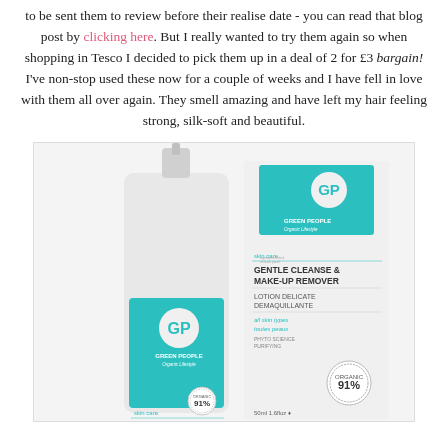to be sent them to review before their realise date - you can read that blog post by clicking here. But I really wanted to try them again so when shopping in Tesco I decided to pick them up in a deal of 2 for £3 bargain! I've non-stop used these now for a couple of weeks and I have fell in love with them all over again. They smell amazing and have left my hair feeling strong, silk-soft and beautiful.
[Figure (photo): Green People Organic Lifestyle Gentle Cleanse & Make-Up Remover product showing both the white pump bottle and the product box/packaging. The teal and white branding is visible with text: skin care, GENTLE CLEANSE & MAKE-UP REMOVER, LOTION DELICATE DEMAQUILLANTE, all skin types / toutes peaux, PHYTO SCIENCE PURIFYING, organic 91%, 50ml 1.6floz.]